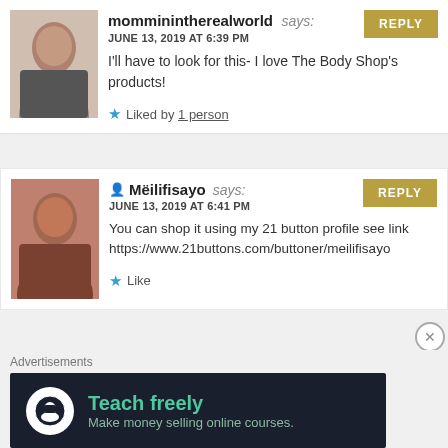momminintherealworld says: JUNE 13, 2019 AT 6:39 PM
I'll have to look for this- I love The Body Shop's products!
★ Liked by 1 person
Mëilifisayo says: JUNE 13, 2019 AT 6:41 PM
You can shop it using my 21 button profile see link https://www.21buttons.com/buttoner/meilifisayo
★ Like
Advertisements
Teach freely
Make money selling online courses.